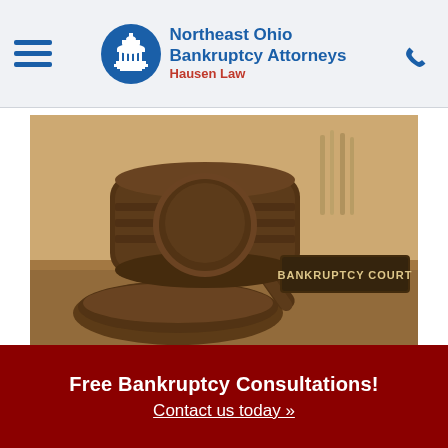Northeast Ohio Bankruptcy Attorneys Hausen Law
[Figure (photo): Sepia-toned photograph of a judge's gavel resting on a sound block, with a nameplate reading 'BANKRUPTCY COURT' visible in the background on a desk]
Free Bankruptcy Consultations!
Contact us today »